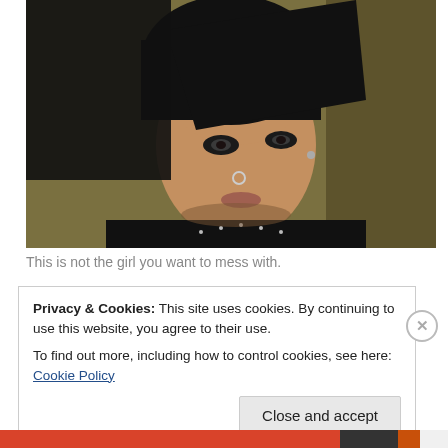[Figure (photo): Close-up portrait of a young woman with short black hair, heavy eye makeup, nose ring, wearing a black leather jacket with studs and a dark scarf, against an olive/brown background. Intense, direct gaze.]
This is not the girl you want to mess with.
Privacy & Cookies: This site uses cookies. By continuing to use this website, you agree to their use.
To find out more, including how to control cookies, see here: Cookie Policy
Close and accept